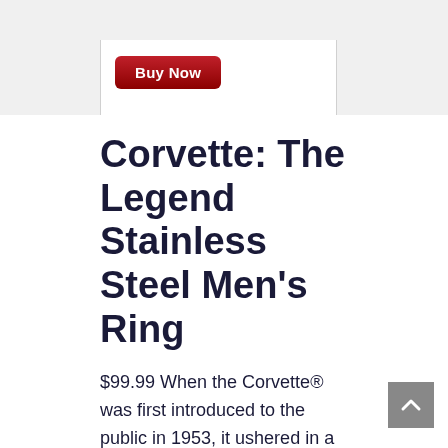[Figure (other): A red rounded 'Buy Now' button on a white panel area]
Corvette: The Legend Stainless Steel Men’s Ring
$99.99 When the Corvette® was first introduced to the public in 1953, it ushered in a whole new era in the automotive world. This all-American sports car has continued to bring state-of-the-art design, technology and performance to car enthusiasts everywhere. Now, you can show your appreciation for this elite driving machine